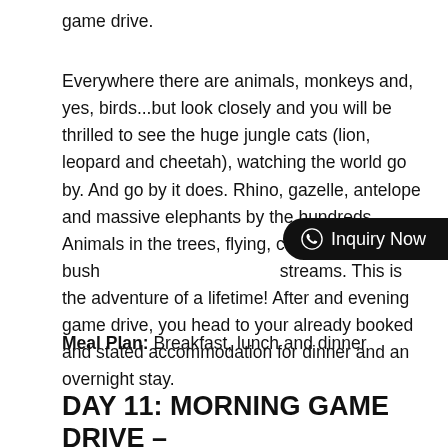game drive.
Everywhere there are animals, monkeys and, yes, birds...but look closely and you will be thrilled to see the huge jungle cats (lion, leopard and cheetah), watching the world go by. And go by it does. Rhino, gazelle, antelope and massive elephants by the hundreds. Animals in the trees, flying, camouflaged in the bush streams. This is the adventure of a lifetime! After and evening game drive, you head to your already booked and stated accommodation for dinner and an overnight stay.
Meal Plan: Breakfast, lunch and dinner
DAY 11: MORNING GAME DRIVE –